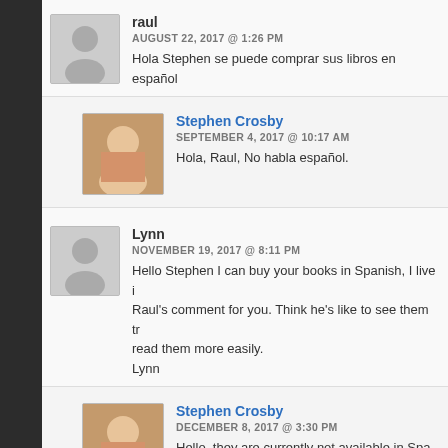raul
AUGUST 22, 2017 @ 1:26 PM
Hola Stephen se puede comprar sus libros en español
Stephen Crosby
SEPTEMBER 4, 2017 @ 10:17 AM
Hola, Raul, No habla español.
Lynn
NOVEMBER 19, 2017 @ 8:11 PM
Hello Stephen I can buy your books in Spanish, I live i
Raul's comment for you. Think he's like to see them tr
read them more easily.
Lynn
Stephen Crosby
DECEMBER 8, 2017 @ 3:30 PM
Hello, they are currently not available in Spa